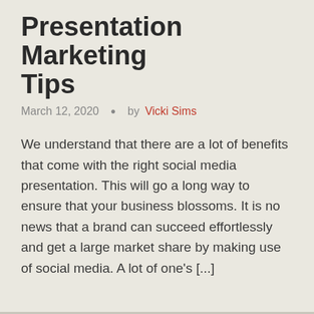Presentation Marketing Tips
March 12, 2020  •  by Vicki Sims
We understand that there are a lot of benefits that come with the right social media presentation. This will go a long way to ensure that your business blossoms. It is no news that a brand can succeed effortlessly and get a large market share by making use of social media. A lot of one's [...]
Read More